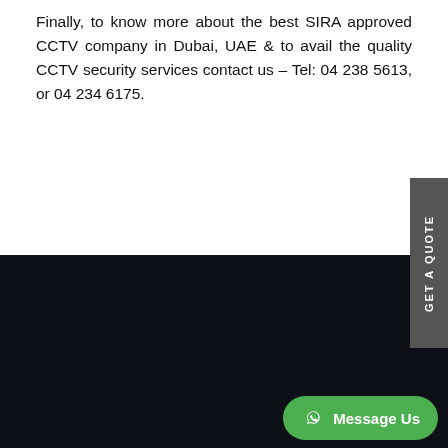Finally, to know more about the best SIRA approved CCTV company in Dubai, UAE & to avail the quality CCTV security services contact us – Tel: 04 238 5613, or 04 234 6175.
About
Al Marjan Communication System Is Built On Core Values That Provide Only The Highest Levels Of Audio And Visual Communications In Dubai...